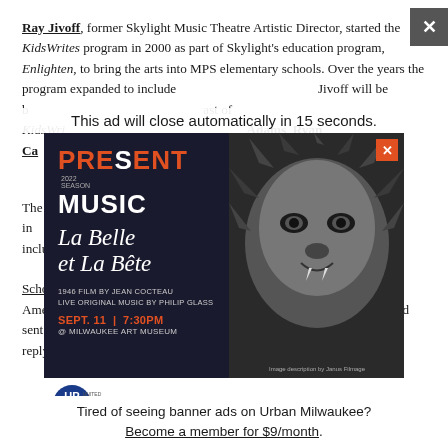Ray Jivoff, former Skylight Music Theatre Artistic Director, started the KidsWrites program in 2000 as part of Skylight's education program, Enlighten, to bring the arts into MPS elementary schools. Over the years the program expanded to include ... Jivoff will be bringing a cast of KidsWrites ensemble ... Adams, Ryan Ca... and Kevin J...
[Figure (other): Advertisement for Present Music 2022 Season: La Belle et La Bête - 1946 film by Jean Cocteau, Live original music by Philip Glass. Sept. 11 | 7:30PM @ Milwaukee Art Museum. Tickets Start at $15. Get Yours HERE! Shows an image of a beast face in black and white.]
This ad will close automatically in 15 seconds.
Tired of seeing banner ads on Urban Milwaukee? Become a member for $9/month.
The virtual ... Marquardt to bring in ... guests include ... rich Family, ... c Schools ... gian-Canadian-Ame ... we. Marquardt saw Mbowe perform online and sent her a note, explaining the KidsWrites project. She did not expect a reply, but Mbowe responded with enthusiasm, agreeing to participate.